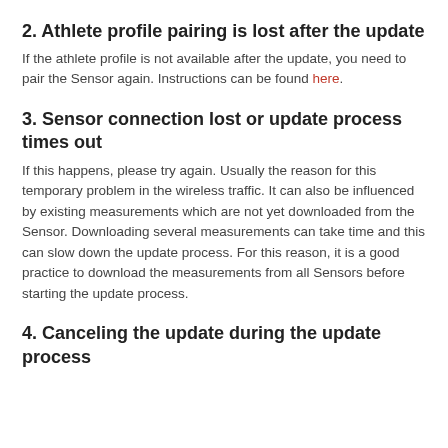restart the update process.
2. Athlete profile pairing is lost after the update
If the athlete profile is not available after the update, you need to pair the Sensor again. Instructions can be found here.
3. Sensor connection lost or update process times out
If this happens, please try again. Usually the reason for this temporary problem in the wireless traffic. It can also be influenced by existing measurements which are not yet downloaded from the Sensor. Downloading several measurements can take time and this can slow down the update process. For this reason, it is a good practice to download the measurements from all Sensors before starting the update process.
4. Canceling the update during the update process